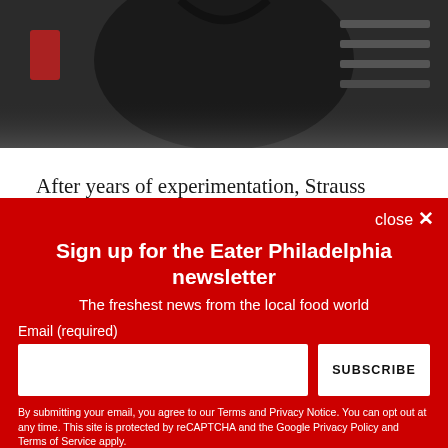[Figure (photo): Partial photo of a person in a dark shirt, with background shelving visible. Only upper torso and background visible.]
After years of experimentation, Strauss chooses to smoke the brisket around 10 hours, before letting it sit for four to five hours. The resting period allows the meat to retain its
close ✕
Sign up for the Eater Philadelphia newsletter
The freshest news from the local food world
Email (required)
SUBSCRIBE
By submitting your email, you agree to our Terms and Privacy Notice. You can opt out at any time. This site is protected by reCAPTCHA and the Google Privacy Policy and Terms of Service apply.